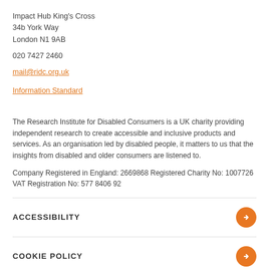Impact Hub King's Cross
34b York Way
London N1 9AB
020 7427 2460
mail@ridc.org.uk
Information Standard
The Research Institute for Disabled Consumers is a UK charity providing independent research to create accessible and inclusive products and services. As an organisation led by disabled people, it matters to us that the insights from disabled and older consumers are listened to.
Company Registered in England: 2669868 Registered Charity No: 1007726 VAT Registration No: 577 8406 92
ACCESSIBILITY
COOKIE POLICY
PRIVACY POLICY